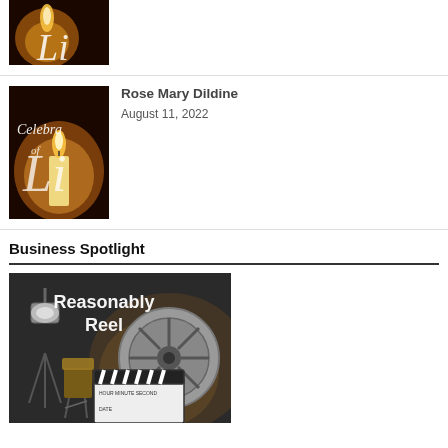[Figure (photo): Partial view of a candle with cursive text, cropped at top]
[Figure (photo): Celebrate of Life candle image thumbnail]
Rose Mary Dildine
August 11, 2022
Business Spotlight
[Figure (photo): Reasonably Reel business spotlight image with film reel, clapperboard, and studio lights]